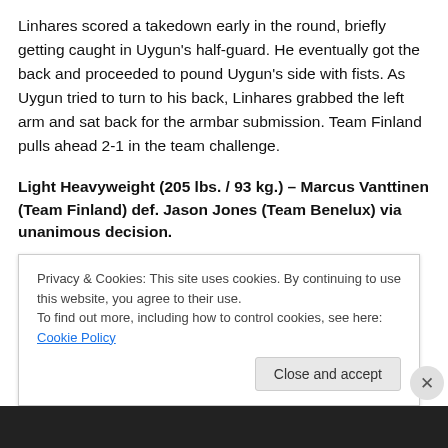Linhares scored a takedown early in the round, briefly getting caught in Uygun's half-guard. He eventually got the back and proceeded to pound Uygun's side with fists. As Uygun tried to turn to his back, Linhares grabbed the left arm and sat back for the armbar submission. Team Finland pulls ahead 2-1 in the team challenge.
Light Heavyweight (205 lbs. / 93 kg.) – Marcus Vanttinen (Team Finland) def. Jason Jones (Team Benelux) via unanimous decision.
Although he came alive at the end of the first round with a
Privacy & Cookies: This site uses cookies. By continuing to use this website, you agree to their use.
To find out more, including how to control cookies, see here: Cookie Policy